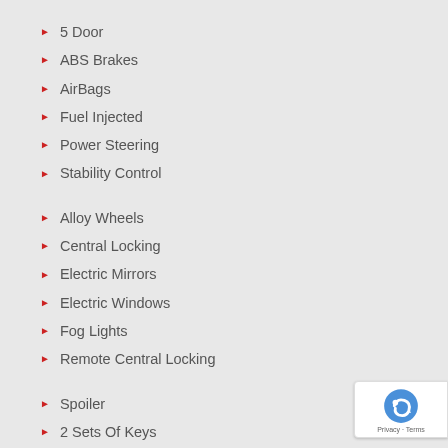5 Door
ABS Brakes
AirBags
Fuel Injected
Power Steering
Stability Control
Alloy Wheels
Central Locking
Electric Mirrors
Electric Windows
Fog Lights
Remote Central Locking
Spoiler
2 Sets Of Keys
Air Conditioning
CD Player